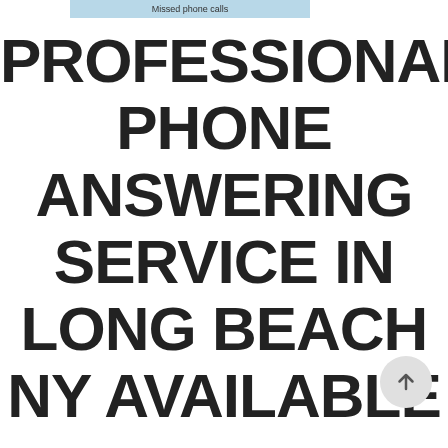Missed phone calls
PROFESSIONAL PHONE ANSWERING SERVICE IN LONG BEACH NY AVAILABLE